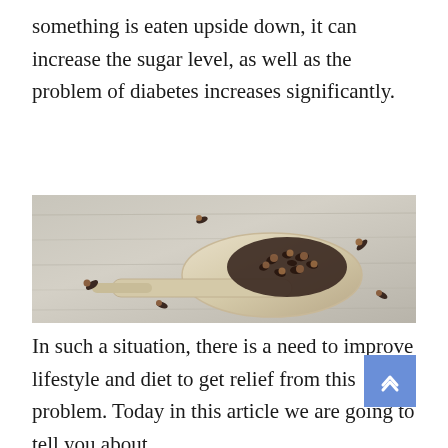something is eaten upside down, it can increase the sugar level, as well as the problem of diabetes increases significantly.
[Figure (photo): Close-up photo of cloves (whole dried cloves) piled on a wooden spoon, placed on a weathered white wooden surface with scattered cloves around it.]
In such a situation, there is a need to improve lifestyle and diet to get relief from this problem. Today in this article we are going to tell you about